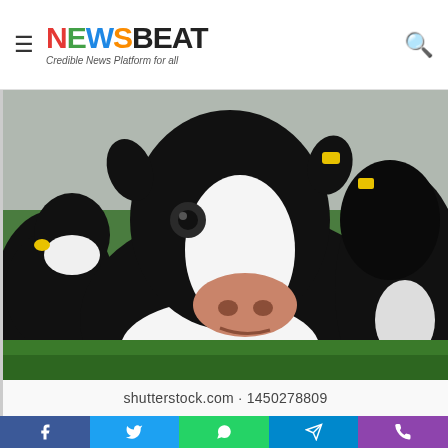≡ NEWSBEAT — Credible News Platform for all
[Figure (photo): Close-up photograph of Holstein dairy cows (black and white) looking at the camera in a green field. Watermark: shutterstock.com · 1450278809]
shutterstock.com · 1450278809
Facebook | Twitter | WhatsApp | Telegram | Phone